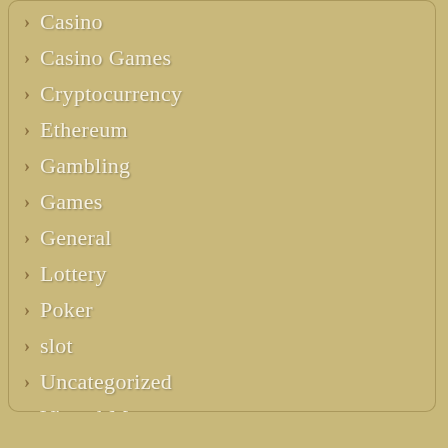Casino
Casino Games
Cryptocurrency
Ethereum
Gambling
Games
General
Lottery
Poker
slot
Uncategorized
Virtual Money